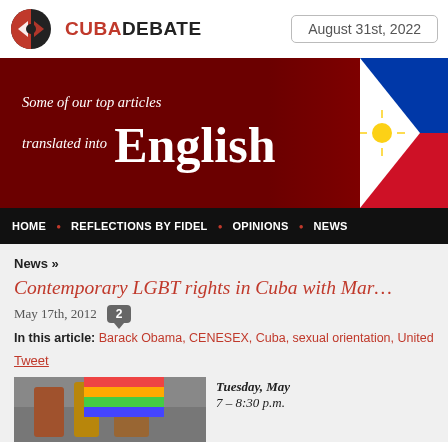[Figure (logo): CubaDebate logo with red/black circular icon and text CUBADEBATE]
August 31st, 2022
[Figure (illustration): Red banner with text 'Some of our top articles translated into English' and flag imagery on the right]
HOME • REFLECTIONS BY FIDEL • OPINIONS • NEWS
News »
Contemporary LGBT rights in Cuba with Mar...
May 17th, 2012  [2 comments]
In this article: Barack Obama, CENESEX, Cuba, sexual orientation, United...
Tweet
[Figure (photo): Article image showing crowd scene with rainbow flag]
Tuesday, May
7 – 8:30 p.m.